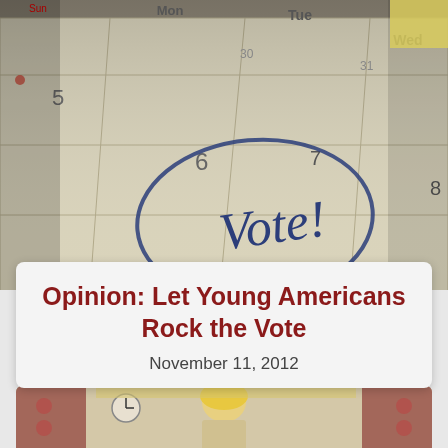[Figure (photo): Calendar with 'Vote!' written and circled on day 6, showing Mon, Tue, Wed column headers and dates 5, 6, 7, 8 visible]
Opinion: Let Young Americans Rock the Vote
November 11, 2012
[Figure (photo): Partial photo strip showing a person with blond hair, a clock on the wall, and decorative elements]